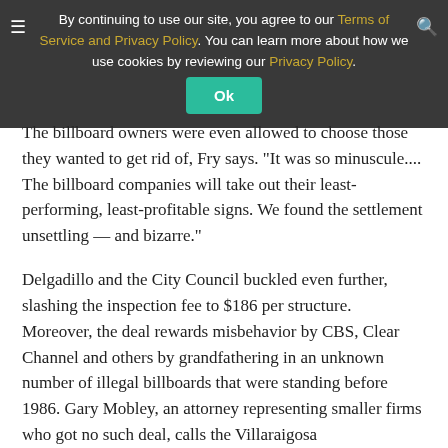By continuing to use our site, you agree to our Terms of Service and Privacy Policy. You can learn more about how we use cookies by reviewing our Privacy Policy. [Ok button]
The billboard owners were even allowed to choose those they wanted to get rid of, Fry says. "It was so minuscule.... The billboard companies will take out their least-performing, least-profitable signs. We found the settlement unsettling — and bizarre."
Delgadillo and the City Council buckled even further, slashing the inspection fee to $186 per structure. Moreover, the deal rewards misbehavior by CBS, Clear Channel and others by grandfathering in an unknown number of illegal billboards that were standing before 1986. Gary Mobley, an attorney representing smaller firms who got no such deal, calls the Villaraigosa administration's decision to look the other way “insidious” and “unscionable.”
[
But the biggest coup was the quiet move by Delgadillo, the City Council and the mayor, still widely unknown to L.A. residents, to let the offending companies “modernize” 877 billboards by transforming them into highly lucrative, controversial, ultrabright